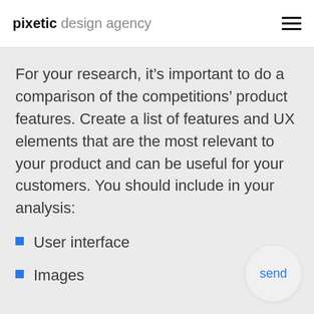pixetic design agency
For your research, it’s important to do a comparison of the competitions’ product features. Create a list of features and UX elements that are the most relevant to your product and can be useful for your customers. You should include in your analysis:
User interface
Images